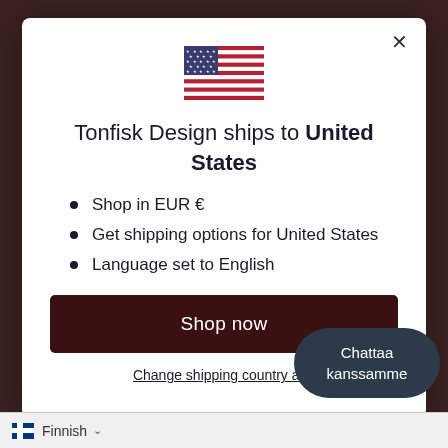[Figure (illustration): US flag emoji in center of modal dialog]
Tonfisk Design ships to United States
Shop in EUR €
Get shipping options for United States
Language set to English
Shop now
Change shipping country and
Chattaa kanssamme
Finnish